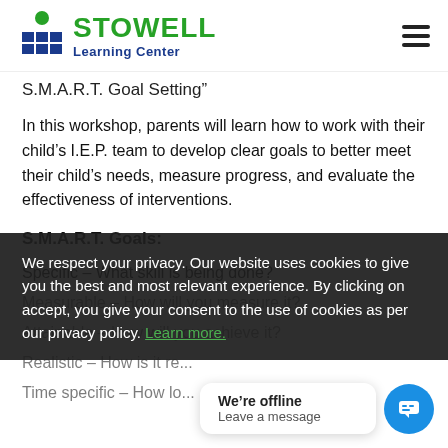Stowell Learning Center
S.M.A.R.T. Goal Setting"
In this workshop, parents will learn how to work with their child's I.E.P. team to develop clear goals to better meet their child's needs, measure progress, and evaluate the effectiveness of interventions.
S.M.A.R.T. Goals:
Specific – What skill is being done?
Measurable – How will you measure it?
Attainable – How will you achieve it?
Realistic – How is it realistic?
Time specific – How long will it take?
We respect your privacy. Our website uses cookies to give you the best and most relevant experience. By clicking on accept, you give your consent to the use of cookies as per our privacy policy. Learn more.
We're offline
Leave a message